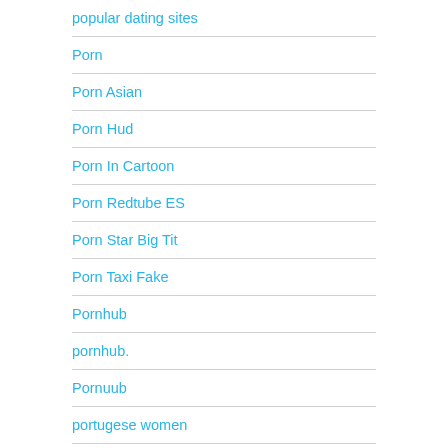popular dating sites
Porn
Porn Asian
Porn Hud
Porn In Cartoon
Porn Redtube ES
Porn Star Big Tit
Porn Taxi Fake
Pornhub
pornhub.
Pornuub
portugese women
Positive Singles App